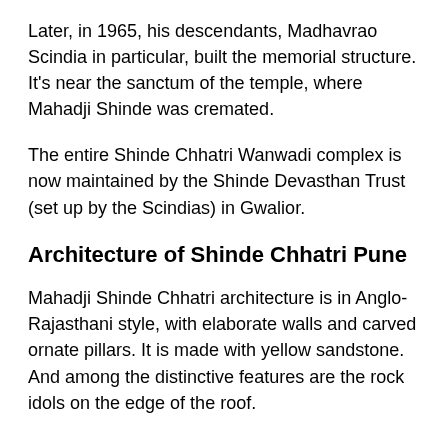Later, in 1965, his descendants, Madhavrao Scindia in particular, built the memorial structure. It's near the sanctum of the temple, where Mahadji Shinde was cremated.
The entire Shinde Chhatri Wanwadi complex is now maintained by the Shinde Devasthan Trust (set up by the Scindias) in Gwalior.
Architecture of Shinde Chhatri Pune
Mahadji Shinde Chhatri architecture is in Anglo-Rajasthani style, with elaborate walls and carved ornate pillars. It is made with yellow sandstone. And among the distinctive features are the rock idols on the edge of the roof.